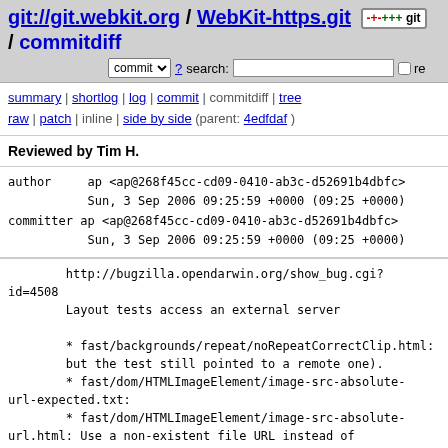git://git.webkit.org / WebKit-https.git / commitdiff
commit ? search: re
summary | shortlog | log | commit | commitdiff | tree raw | patch | inline | side by side (parent: 4edfdaf)
Reviewed by Tim H.
author    ap <ap@268f45cc-cd09-0410-ab3c-d52691b4dbfc>
          Sun, 3 Sep 2006 09:25:59 +0000 (09:25 +0000)
committer ap <ap@268f45cc-cd09-0410-ab3c-d52691b4dbfc>
          Sun, 3 Sep 2006 09:25:59 +0000 (09:25 +0000)
http://bugzilla.opendarwin.org/show_bug.cgi?id=4508
        Layout tests access an external server

        * fast/backgrounds/repeat/noRepeatCorrectClip.html: but the test still pointed to a remote one).
        * fast/dom/HTMLImageElement/image-src-absolute-url-expected.txt:
        * fast/dom/HTMLImageElement/image-src-absolute-url.html: Use a non-existent file URL instead of a non-existent http one.
        * fast/loader/docLoaderFrame-expected.checksum: Removed.
        * fast/loader/docLoaderFrame-